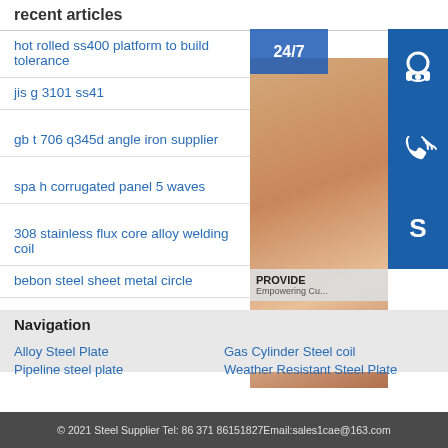recent articles
hot rolled ss400 platform to build tolerance
jis g 3101 ss41
gb t 706 q345d angle iron supplier
spa h corrugated panel 5 waves
308 stainless flux core alloy welding coil
bebon steel sheet metal circle
[Figure (photo): Customer service representative with headset, 24/7 support icons including headset, phone, and Skype icons, PROVIDE Empowering Customers banner, online live button]
Navigation
Alloy Steel Plate
Gas Cylinder Steel coil
Pipeline steel plate
Weather Resistant Steel Plate
© 2021 Steel Supplier Tel: 86 371 86151827Email:sales1cae@163.com